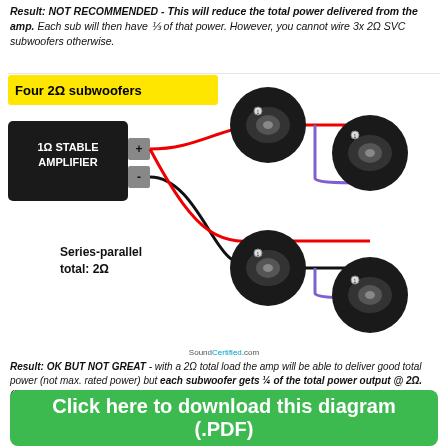Result: NOT RECOMMENDED - This will reduce the total power delivered from the amp. Each sub will then have ⅓ of that power. However, you cannot wire 3x 2Ω SVC subwoofers otherwise.
[Figure (schematic): Four 2Ω subwoofers wiring diagram showing a 1Ω stable amplifier connected to four subwoofers in series-parallel configuration totaling 2Ω. Red and black wires from amplifier + and - terminals connect to two pairs of subwoofers (top row and bottom row), with purple wires connecting each pair in series. Label: Series-parallel total: 2Ω.]
Result: OK BUT NOT GREAT - with a 2Ω total load the amp will be able to deliver good total power (not max. rated power) but each subwoofer gets ¼ of the total power output @ 2Ω. (Ex.: for 500W @ 2Ω each subw. can get 125W).
SoundCertified.com
Click here to download this diagram (.PDF)